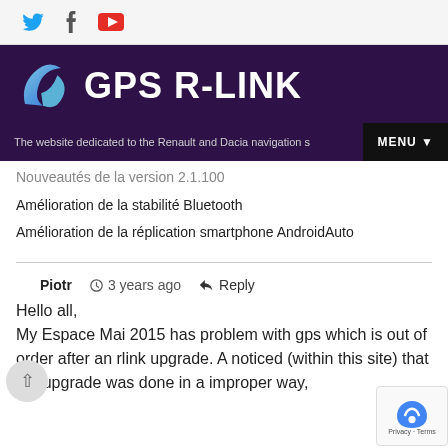GPS R-LINK — The website dedicated to the Renault and Dacia navigation systems
Nouveautés de la version 2.1.100
Amélioration de la stabilité Bluetooth
Amélioration de la réplication smartphone AndroidAuto
Piotr   3 years ago   Reply
Hello all,
My Espace Mai 2015 has problem with gps which is out of order after an rlink upgrade. A noticed (within this site) that the upgrade was done in a improper way,